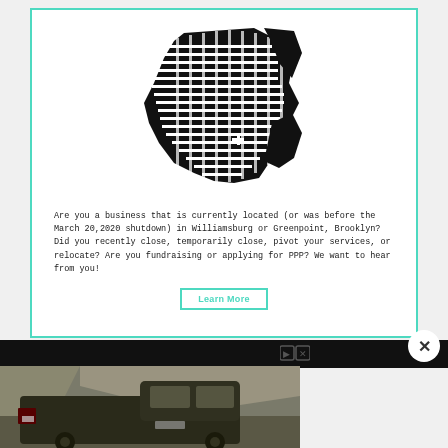[Figure (map): Black and white street grid map of Williamsburg and Greenpoint, Brooklyn neighborhoods, showing a stylized block/street pattern in black silhouette]
Are you a business that is currently located (or was before the March 20,2020 shutdown) in Williamsburg or Greenpoint, Brooklyn? Did you recently close, temporarily close, pivot your services, or relocate? Are you fundraising or applying for PPP? We want to hear from you!
Learn More
[Figure (photo): Advertisement showing a dark pickup truck (appears to be a Rivian or similar electric truck) on rocky terrain with cliffs in background. Ad control icons visible top right.]